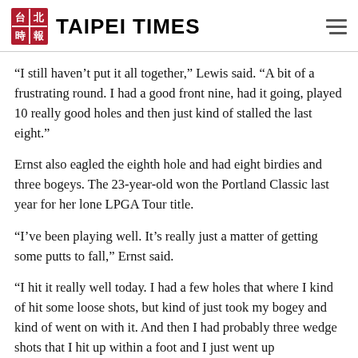TAIPEI TIMES
“I still haven’t put it all together,” Lewis said. “A bit of a frustrating round. I had a good front nine, had it going, played 10 really good holes and then just kind of stalled the last eight.”
Ernst also eagled the eighth hole and had eight birdies and three bogeys. The 23-year-old won the Portland Classic last year for her lone LPGA Tour title.
“I’ve been playing well. It’s really just a matter of getting some putts to fall,” Ernst said.
“I hit it really well today. I had a few holes that where I kind of hit some loose shots, but kind of just took my bogey and kind of went on with it. And then I had probably three wedge shots that I hit up within a foot and I just went up